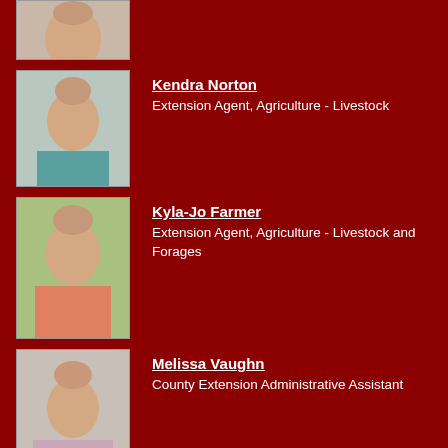[Figure (photo): Partial photo of a person at the top of the page (cropped)]
[Figure (photo): Headshot photo of Kendra Norton]
Kendra Norton
Extension Agent, Agriculture - Livestock
[Figure (photo): Headshot photo of Kyla-Jo Farmer]
Kyla-Jo Farmer
Extension Agent, Agriculture - Livestock and Forages
[Figure (photo): Headshot photo of Melissa Vaughn]
Melissa Vaughn
County Extension Administrative Assistant
Let's Get In Touch
Swain County Center
STREET ADDRESS:
60 Almond School Rd
Bryson City NC 28713
MAILING ADDRESS:
PO Box 2329
Bryson City NC 28713